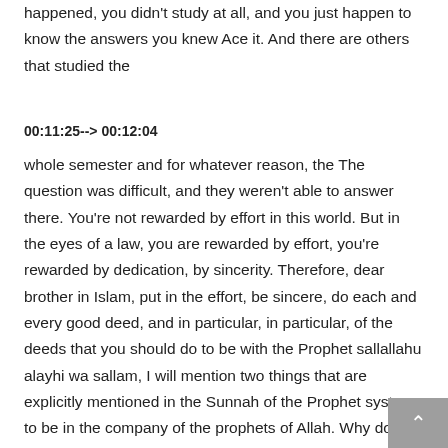happened, you didn't study at all, and you just happen to know the answers you knew Ace it. And there are others that studied the
00:11:25--> 00:12:04
whole semester and for whatever reason, the The question was difficult, and they weren't able to answer there. You're not rewarded by effort in this world. But in the eyes of a law, you are rewarded by effort, you're rewarded by dedication, by sincerity. Therefore, dear brother in Islam, put in the effort, be sincere, do each and every good deed, and in particular, in particular, of the deeds that you should do to be with the Prophet sallallahu alayhi wa sallam, I will mention two things that are explicitly mentioned in the Sunnah of the Prophet system to be in the company of the prophets of Allah. Why do you say that? Number one, one of the servants of our Prophet sallallahu